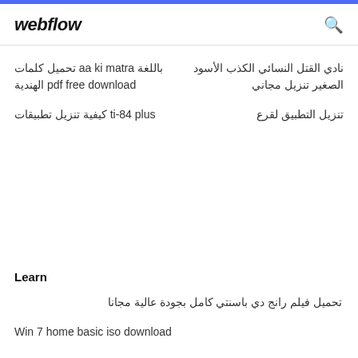webflow
نادي القتل النسائي الكذب الأسود الصغير تنزيل مجاني
تنزيل التطبيق لقرع
تحميل كلمات aa ki matra باللغة الهندية pdf free download
كيفية تنزيل تطبيقات ti-84 plus
Learn
تحميل فيلم رانج دي باسنتي كامل بجودة عالية مجانا
Win 7 home basic iso download